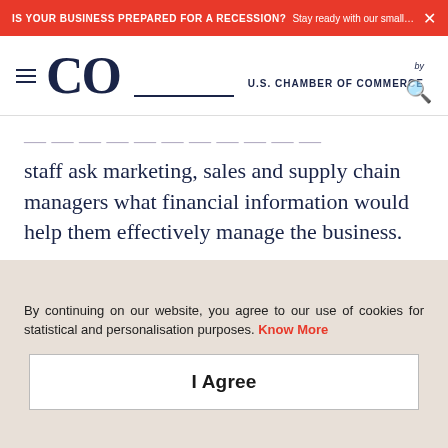IS YOUR BUSINESS PREPARED FOR A RECESSION? Stay ready with our small busin...
CO by U.S. CHAMBER OF COMMERCE
staff ask marketing, sales and supply chain managers what financial information would help them effectively manage the business.
“For instance, ask how would they like to see the
By continuing on our website, you agree to our use of cookies for statistical and personalisation purposes. Know More
I Agree